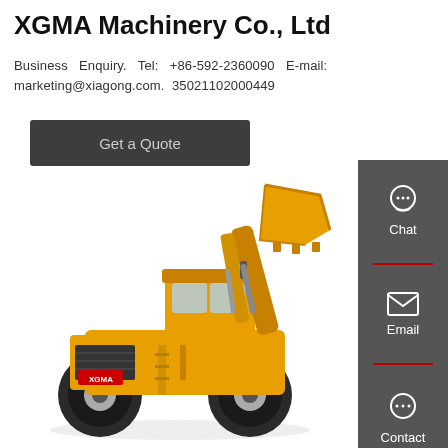XGMA Machinery Co., Ltd
Business Enquiry. Tel: +86-592-2360090 E-mail: marketing@xiagong.com. 35021102000449
Get a Quote
[Figure (photo): Yellow XGMA wheel loader construction machine on white background]
Chat
Email
Contact